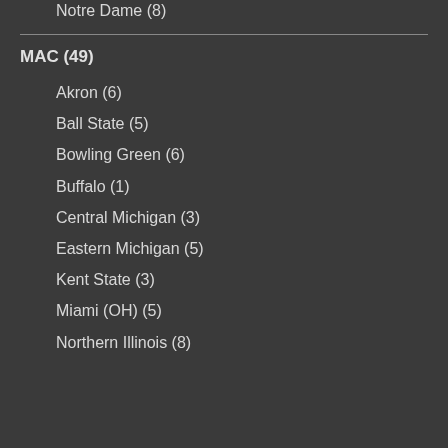Notre Dame (8)
MAC (49)
Akron (6)
Ball State (5)
Bowling Green (6)
Buffalo (1)
Central Michigan (3)
Eastern Michigan (5)
Kent State (3)
Miami (OH) (5)
Northern Illinois (8)